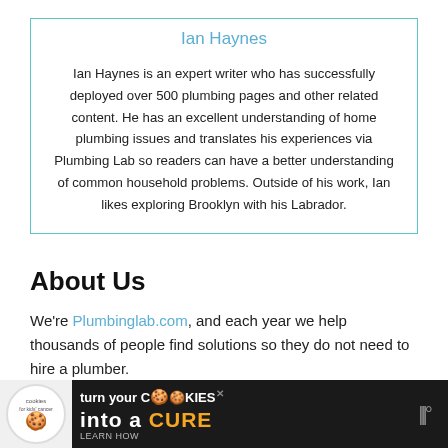Ian Haynes
Ian Haynes is an expert writer who has successfully deployed over 500 plumbing pages and other related content. He has an excellent understanding of home plumbing issues and translates his experiences via Plumbing Lab so readers can have a better understanding of common household problems. Outside of his work, Ian likes exploring Brooklyn with his Labrador.
About Us
We're Plumbinglab.com, and each year we help thousands of people find solutions so they do not need to hire a plumber.
[Figure (other): Advertisement banner for Cookies for Kids Cancer — 'turn your COOKIES into a CURE LEARN HOW' on dark background]